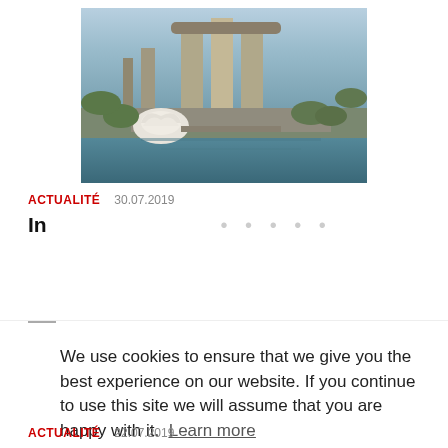[Figure (photo): Aerial view of Marina Bay Sands, Singapore, with the iconic boat-shaped rooftop, surrounding waterways, and cityscape.]
ACTUALITÉ   30.07.2019
In
We use cookies to ensure that we give you the best experience on our website. If you continue to use this site we will assume that you are happy with it. Learn more
Decline   Allow cookies
ACTUALITÉ   22.07.2019